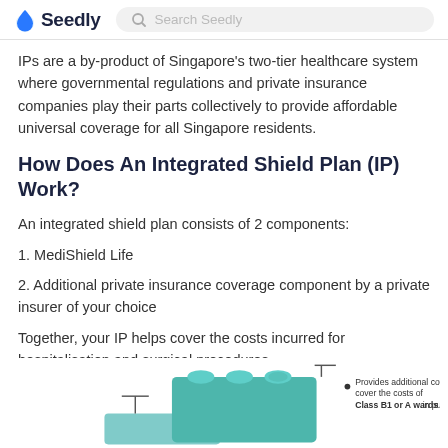Seedly | Search Seedly
IPs are a by-product of Singapore's two-tier healthcare system where governmental regulations and private insurance companies play their parts collectively to provide affordable universal coverage for all Singapore residents.
How Does An Integrated Shield Plan (IP) Work?
An integrated shield plan consists of 2 components:
1. MediShield Life
2. Additional private insurance coverage component by a private insurer of your choice
Together, your IP helps cover the costs incurred for hospitalisation and surgical procedures.
[Figure (infographic): Infographic showing two lego-brick-like blocks representing the two components of an Integrated Shield Plan. The larger teal block on top has a label: 'Provides additional coverage (e.g. to cover the costs of private hospitals or Class B1 or A wards in public hospitals)']